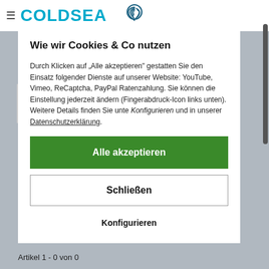COLDSCAN (logo/header bar)
Wie wir Cookies & Co nutzen
Durch Klicken auf „Alle akzeptieren" gestatten Sie den Einsatz folgender Dienste auf unserer Website: YouTube, Vimeo, ReCaptcha, PayPal Ratenzahlung. Sie können die Einstellung jederzeit ändern (Fingerabdruck-Icon links unten). Weitere Details finden Sie unte Konfigurieren und in unserer Datenschutzerklärung.
Alle akzeptieren
Schließen
Konfigurieren
Artikel 1 - 0 von 0